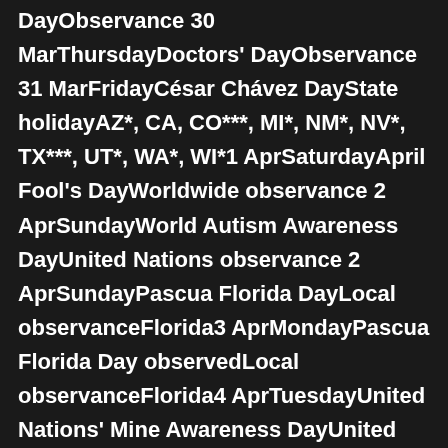DayObservance 30 MarThursdayDoctors' DayObservance 31 MarFridayCésar Chávez DayState holidayAZ*, CA, CO***, MI*, NM*, NV*, TX***, UT*, WA*, WI*1 AprSaturdayApril Fool's DayWorldwide observance 2 AprSundayWorld Autism Awareness DayUnited Nations observance 2 AprSundayPascua Florida DayLocal observanceFlorida3 AprMondayPascua Florida Day observedLocal observanceFlorida4 AprTuesdayUnited Nations' Mine Awareness DayUnited Nations observance 6 AprThursdayInternational Day of Sport for Development and PeaceUnited Nations observance 6 AprThursdayNational Tartan DayObservance 7 AprFridayUnited Nations' World Health DayUnited Nations observance 7 AprFridayDay of Remembrance of the Victims of the Rwanda GenocideUnited Nations observance 9 AprSundayPalm SundayChristian 10 AprMondayPassover EveJewish holiday 11